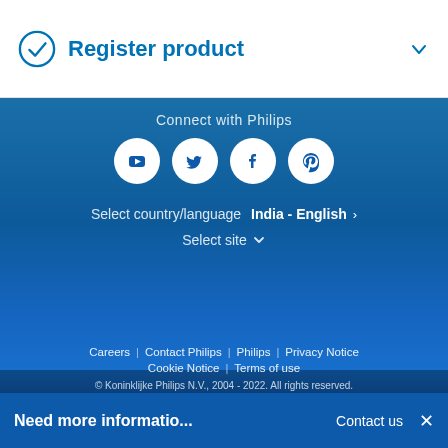Register product
Connect with Philips
[Figure (illustration): Four social media icons in white circles: YouTube, Twitter, Facebook, Pinterest on blue gradient background]
Select country/language India - English >
Select site v
Careers | Contact Philips | Philips | Privacy Notice | Cookie Notice | Terms of use
© Koninklijke Philips N.V., 2004 - 2022. All rights reserved.
Need more informatio...  Contact us  ×